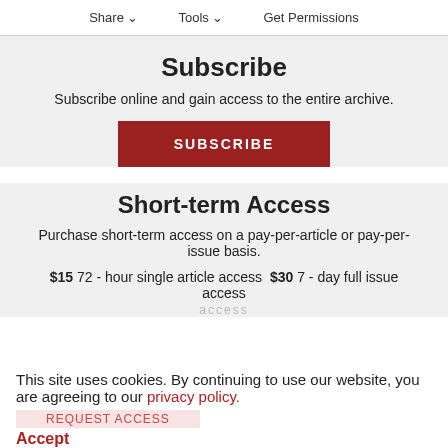Share  Tools  Get Permissions
Subscribe
Subscribe online and gain access to the entire archive.
SUBSCRIBE
Short-term Access
Purchase short-term access on a pay-per-article or pay-per-issue basis.
$15 72 - hour single article access $30 7 - day full issue access
This site uses cookies. By continuing to use our website, you are agreeing to our privacy policy. Accept